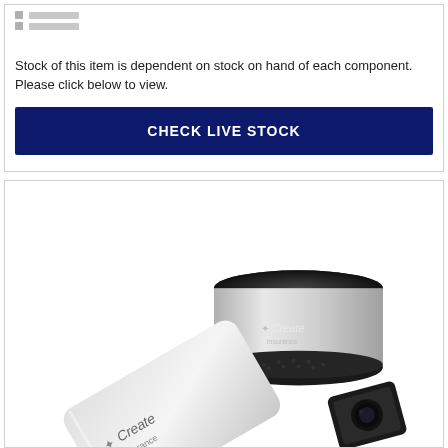■ ━━━━
■ ━━━━
Stock of this item is dependent on stock on hand of each component.
Please click below to view.
CHECK LIVE STOCK
[Figure (photo): Product photo showing branded promotional merchandise: a round silver Bluetooth speaker with 'Create Insurance' logo on top, a rectangular silver card holder/power bank with 'Create Insurance' logo, and a small black square item, all on white background.]